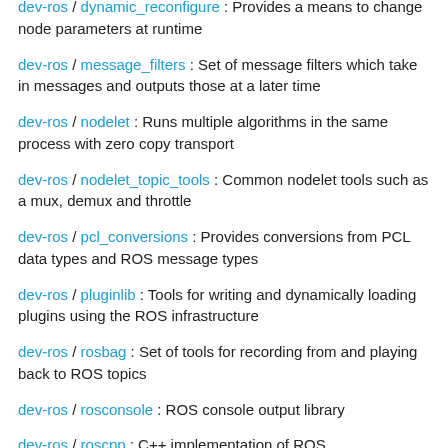dev-ros / dynamic_reconfigure : Provides a means to change node parameters at runtime
dev-ros / message_filters : Set of message filters which take in messages and outputs those at a later time
dev-ros / nodelet : Runs multiple algorithms in the same process with zero copy transport
dev-ros / nodelet_topic_tools : Common nodelet tools such as a mux, demux and throttle
dev-ros / pcl_conversions : Provides conversions from PCL data types and ROS message types
dev-ros / pluginlib : Tools for writing and dynamically loading plugins using the ROS infrastructure
dev-ros / rosbag : Set of tools for recording from and playing back to ROS topics
dev-ros / rosconsole : ROS console output library
dev-ros / roscpp : C++ implementation of ROS
dev-ros / roslib : Base dependencies and support libraries for